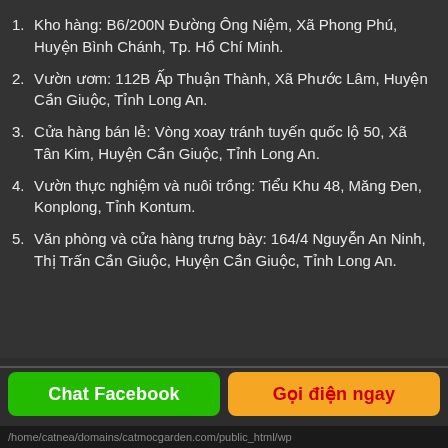1. Kho hàng: B6/200N Đường Ông Niệm, Xã Phong Phú, Huyện Bình Chánh, Tp. Hồ Chí Minh.
2. Vườn ươm: 112B Ấp Thuận Thành, Xã Phước Lâm, Huyện Cần Giuộc, Tỉnh Long An.
3. Cửa hàng bán lẻ: Vòng xoay tránh tuyến quốc lộ 50, Xã Tân Kim, Huyện Cần Giuộc, Tỉnh Long An.
4. Vườn thực nghiệm và nuôi trồng: Tiểu Khu 48, Măng Đen, Konplong, Tỉnh Kontum.
5. Văn phòng và cửa hàng trưng bày: 164/4 Nguyễn An Ninh, Thị Trấn Cần Giuộc, Huyện Cần Giuộc, Tỉnh Long An.
Chat Facebook
Gọi điện ngay
/home/catnea/domains/catmocgarden.com/public_html/wp